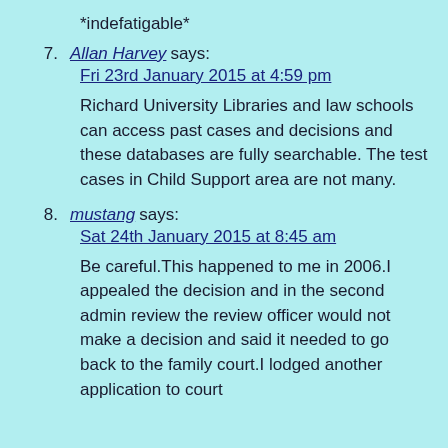*indefatigable*
7. Allan Harvey says:
Fri 23rd January 2015 at 4:59 pm

Richard University Libraries and law schools can access past cases and decisions and these databases are fully searchable. The test cases in Child Support area are not many.
8. mustang says:
Sat 24th January 2015 at 8:45 am

Be careful.This happened to me in 2006.I appealed the decision and in the second admin review the review officer would not make a decision and said it needed to go back to the family court.I lodged another application to court